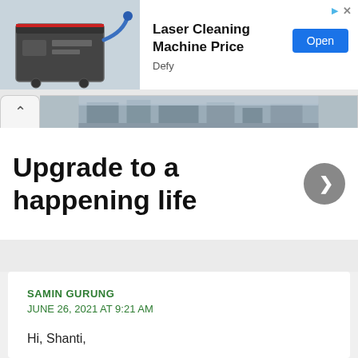[Figure (screenshot): Advertisement banner showing a laser cleaning machine image on the left, with bold text 'Laser Cleaning Machine Price', source label 'Defy', an 'Open' blue button, and small ad icons (triangle and X) in the top right corner.]
[Figure (screenshot): Browser tab bar with a back/up chevron tab on the left and a partial webpage screenshot tab on the right showing a building exterior.]
Upgrade to a happening life
SAMIN GURUNG
JUNE 26, 2021 AT 9:21 AM
Hi, Shanti,